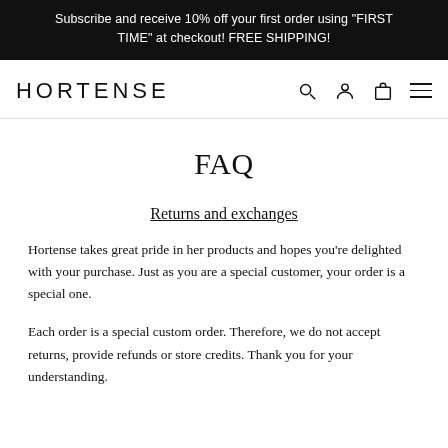Subscribe and receive 10% off your first order using "FIRST TIME" at checkout! FREE SHIPPING!
[Figure (logo): HORTENSE brand logo with navigation icons (search, account, cart, menu)]
FAQ
Returns and exchanges
Hortense takes great pride in her products and hopes you’re delighted with your purchase. Just as you are a special customer, your order is a special one.
Each order is a special custom order. Therefore, we do not accept returns, provide refunds or store credits. Thank you for your understanding.